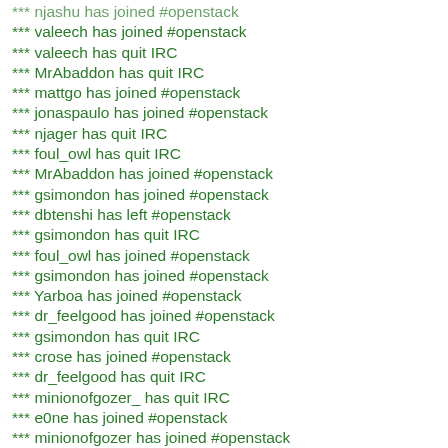*** njashu has joined #openstack
*** valeech has joined #openstack
*** valeech has quit IRC
*** MrAbaddon has quit IRC
*** mattgo has joined #openstack
*** jonaspaulo has joined #openstack
*** njager has quit IRC
*** foul_owl has quit IRC
*** MrAbaddon has joined #openstack
*** gsimondon has joined #openstack
*** dbtenshi has left #openstack
*** gsimondon has quit IRC
*** foul_owl has joined #openstack
*** gsimondon has joined #openstack
*** Yarboa has joined #openstack
*** dr_feelgood has joined #openstack
*** gsimondon has quit IRC
*** crose has joined #openstack
*** dr_feelgood has quit IRC
*** minionofgozer_ has quit IRC
*** e0ne has joined #openstack
*** minionofgozer has joined #openstack
*** minionofgozer has quit IRC